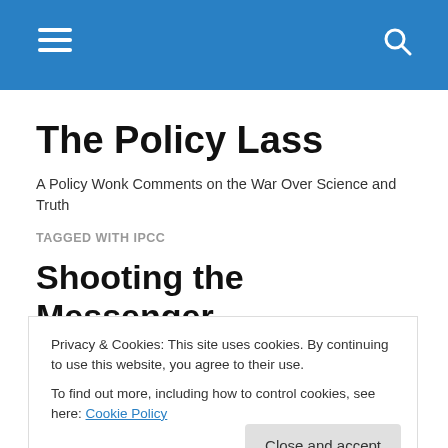The Policy Lass — navigation bar with hamburger menu and search icon
The Policy Lass
A Policy Wonk Comments on the War Over Science and Truth
TAGGED WITH IPCC
Shooting the Messenger — Denialism and the EPA
Privacy & Cookies: This site uses cookies. By continuing to use this website, you agree to their use.
To find out more, including how to control cookies, see here: Cookie Policy